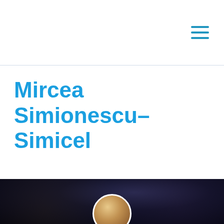Mircea Simionescu–Simicel
[Figure (photo): Dark crowd background photo with a partial circular portrait photo at the bottom center showing a person]